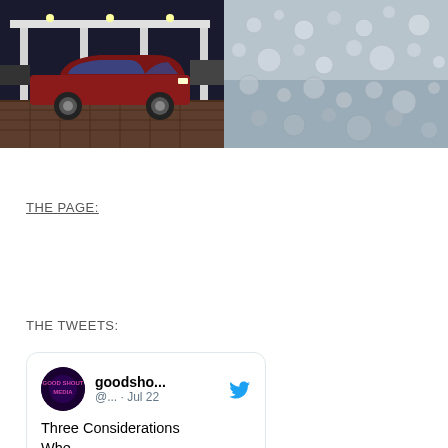[Figure (photo): Red car (sedan) parked at a gas station at night, brick pavement visible]
[Figure (photo): Close-up of water droplets on a surface, silver/grey tones]
THE PAGE:
THE TWEETS:
[Figure (screenshot): Tweet card from goodsho... (@...) on Jul 22 with Twitter bird icon and Good Shout Media avatar. Text begins: Three Considerations Whe...]